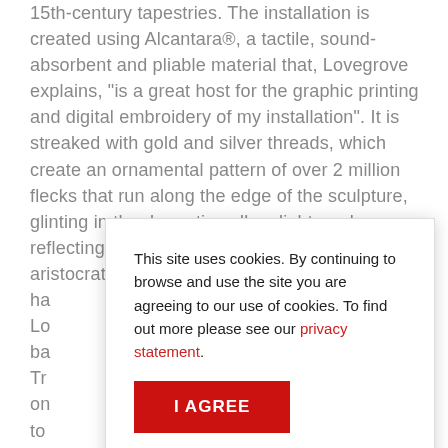15th-century tapestries. The installation is created using Alcantara®, a tactile, sound-absorbent and pliable material that, Lovegrove explains, "is a great host for the graphic printing and digital embroidery of my installation". It is streaked with gold and silver threads, which create an ornamental pattern of over 2 million flecks that run along the edge of the sculpture, glinting in the dramatic gallery light, and reflecting the rich scenes of wealth and aristocratic fashion depicted in the medieval wall ha[...] Lo[...] ng ba[...] Tr[...] on[...] to[...] tap[...] Lo[...] co[...] to use and touch his sculpture, in a subversion of the usual museum experience. The industrial designer hopes
This site uses cookies. By continuing to browse and use the site you are agreeing to our use of cookies. To find out more please see our privacy statement.
I AGREE